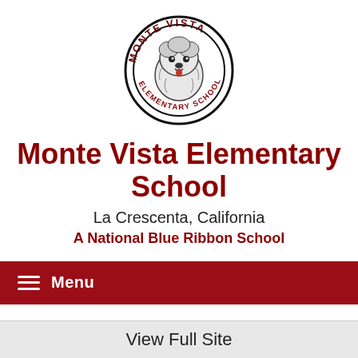[Figure (logo): Monte Vista Elementary School circular logo featuring a shaggy dog mascot in the center, with 'MONTE VISTA' arched at the top and 'ELEMENTARY SCHOOL' arched at the bottom, black and white with red text accents.]
Monte Vista Elementary School
La Crescenta, California
A National Blue Ribbon School
Menu
Home » For Families »
View Full Site